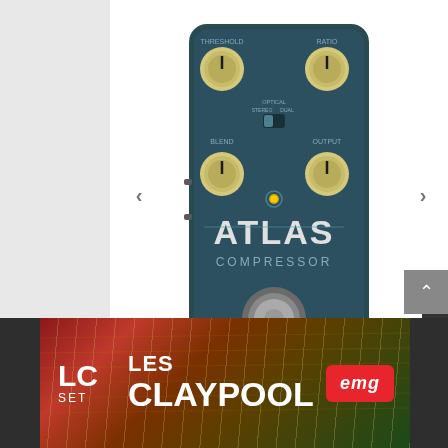[Figure (photo): Source Audio Atlas Compressor guitar pedal, dark teal/slate colored enclosure with four cream/gold knobs labeled Threshold, Ratio, Blend, and Output, with Optical/Stereo/Dual switch, yellow LED, and large footswitch at bottom. Source Audio logo at bottom left.]
Source Audio Atlas Review
[Figure (photo): EMG Pickups advertisement banner featuring Les Claypool LC Set. Dark background with guitar imagery, LES CLAYPOOL text, LC SET badge on left, and EMG logo badge on right.]